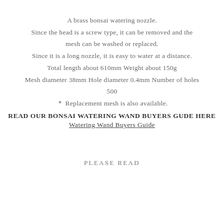A brass bonsai watering nozzle. Since the head is a screw type, it can be removed and the mesh can be washed or replaced. Since it is a long nozzle, it is easy to water at a distance. Total length about 610mm Weight about 150g Mesh diameter 38mm Hole diameter 0.4mm Number of holes 500 * Replacement mesh is also available.
READ OUR BONSAI WATERING WAND BUYERS GUDE HERE
Watering Wand Buyers Guide
PLEASE READ